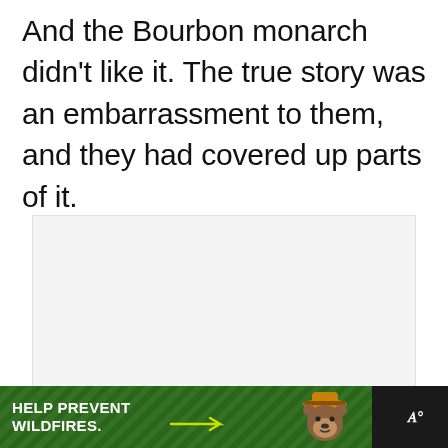And the Bourbon monarch didn’t like it. The true story was an embarrassment to them, and they had covered up parts of it.
[Figure (other): Empty light gray advertisement placeholder box with carousel dots below it]
[Figure (infographic): Smokey Bear 'Help Prevent Wildfires' advertisement banner with green forest background, Smokey Bear character on right, and weather widget area on far right showing 'W' with degree symbol]